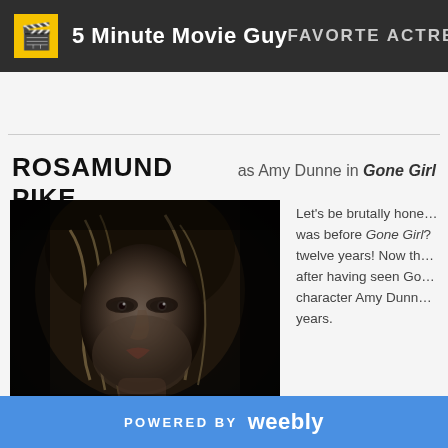5 Minute Movie Guy   FAVORITE ACTRESS
ROSAMUND PIKE as Amy Dunne in Gone Girl
[Figure (photo): Dark, moody close-up photo of Rosamund Pike as Amy Dunne in Gone Girl, lying down with blonde hair, looking slightly alarmed]
Let's be brutally honest. Who honestly knew who Rosamund Pike was before Gone Girl? She had been acting for twelve years! Now that we have all seen Gone Girl after having seen Gone Girl, the character Amy Dunne will haunt us for years.
SHAILENE WOODLEY as Hazel Grace Lancaster in The
POWERED BY weebly